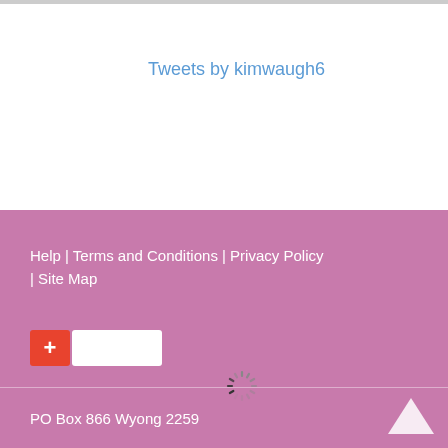Tweets by kimwaugh6
Help | Terms and Conditions | Privacy Policy | Site Map
[Figure (other): Orange plus button with white tag/flag shape next to it, and a loading spinner icon]
PO Box 866 Wyong 2259
© Kim Waugh Racing Stables 2022 | Admin
Version 4.0 | Powered by mistable Horse Trainer Software